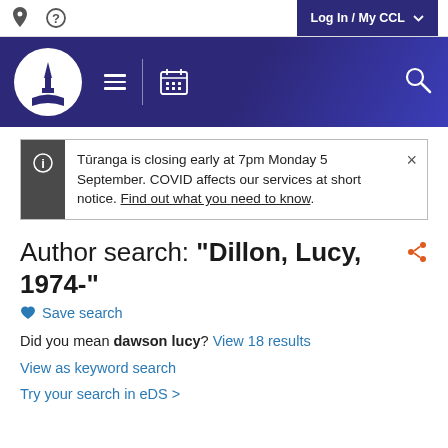Log In / My CCL
[Figure (logo): Christchurch City Libraries logo with cathedral spire in white circle on dark blue navigation bar]
Tūranga is closing early at 7pm Monday 5 September. COVID affects our services at short notice. Find out what you need to know.
Author search: "Dillon, Lucy, 1974-"
Save search
Did you mean dawson lucy? View 18 results
View as keyword search
Try your search in eDS >